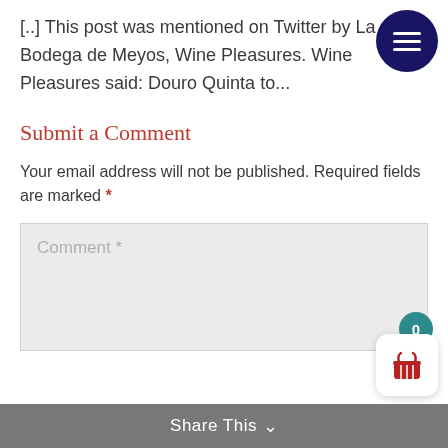[..] This post was mentioned on Twitter by La Bodega de Meyos, Wine Pleasures. Wine Pleasures said: Douro Quinta to...
Submit a Comment
Your email address will not be published. Required fields are marked *
[Figure (other): Comment text input box with placeholder text 'Comment *']
Share This ∨